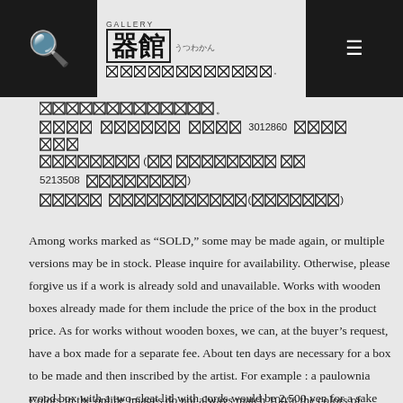GALLERY [logo: kanji characters] [Japanese text with replaced characters] [numbers: 3012860, 5213508]
[Japanese text with replaced characters]
Among works marked as “SOLD,” some may be made again, or multiple versions may be in stock. Please inquire for availability. Otherwise, please forgive us if a work is already sold and unavailable. Works with wooden boxes already made for them include the price of the box in the product price. As for works without wooden boxes, we can, at the buyer’s request, have a box made for a separate fee. About ten days are necessary for a box to be made and then inscribed by the artist. For example : a paulownia wood box with a two-cleat lid with cords would be 2,500 yen for a sake cup, or 3,500yen for a tea bowl.
Colors in the online images do not always match 100% the colors of